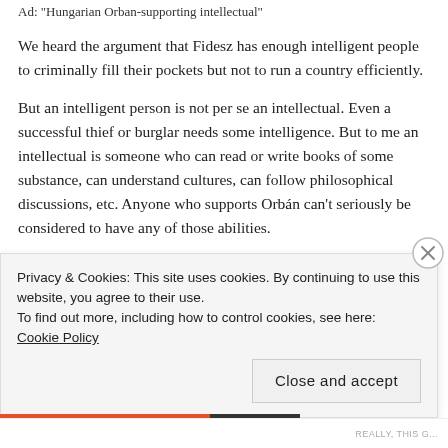Ad: "Hungarian Orban-supporting intellectual"
We heard the argument that Fidesz has enough intelligent people to criminally fill their pockets but not to run a country efficiently.
But an intelligent person is not per se an intellectual. Even a successful thief or burglar needs some intelligence. But to me an intellectual is someone who can read or write books of some substance, can understand cultures, can follow philosophical discussions, etc. Anyone who supports Orbán can't seriously be considered to have any of those abilities.
Privacy & Cookies: This site uses cookies. By continuing to use this website, you agree to their use.
To find out more, including how to control cookies, see here: Cookie Policy
Close and accept